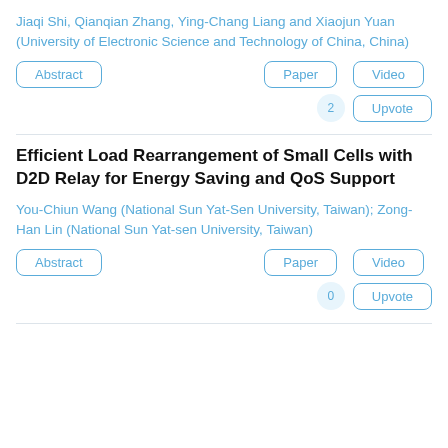Jiaqi Shi, Qianqian Zhang, Ying-Chang Liang and Xiaojun Yuan (University of Electronic Science and Technology of China, China)
Abstract  Paper  Video
2  Upvote
Efficient Load Rearrangement of Small Cells with D2D Relay for Energy Saving and QoS Support
You-Chiun Wang (National Sun Yat-Sen University, Taiwan); Zong-Han Lin (National Sun Yat-sen University, Taiwan)
Abstract  Paper  Video
0  Upvote